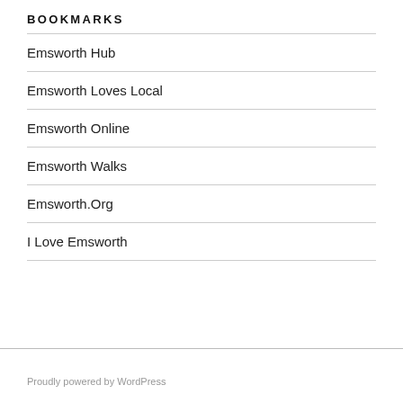BOOKMARKS
Emsworth Hub
Emsworth Loves Local
Emsworth Online
Emsworth Walks
Emsworth.Org
I Love Emsworth
Proudly powered by WordPress